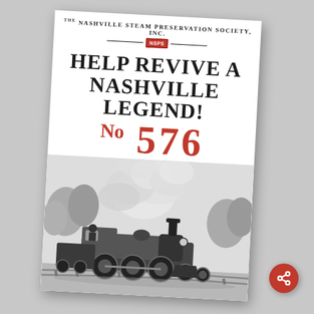The Nashville Steam Preservation Society, Inc. NSPS
Help Revive a Nashville Legend!
No 576
[Figure (photo): Black and white photograph of a steam locomotive (No. 576) billowing large clouds of smoke, traveling on a curved track through a wooded area]